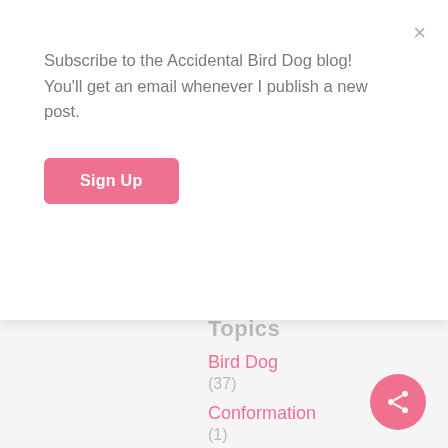Subscribe to the Accidental Bird Dog blog! You'll get an email whenever I publish a new post.
Sign Up
Topics
Bird Dog
(37)
Conformation
(1)
Diet
(6)
Dog Sports
(1)